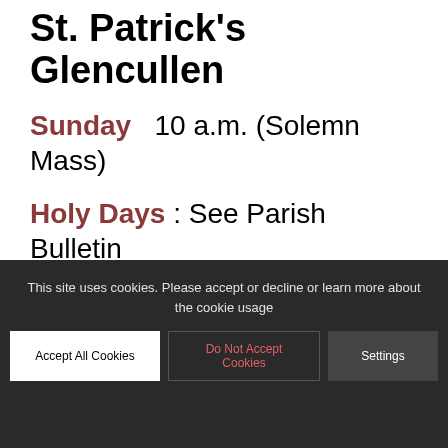St. Patrick's Glencullen
Sunday 10 a.m. (Solemn Mass)
Holy Days : See Parish Bulletin
This site uses cookies. Please accept or decline or learn more about the cookie usage
(CONFESSION) by request